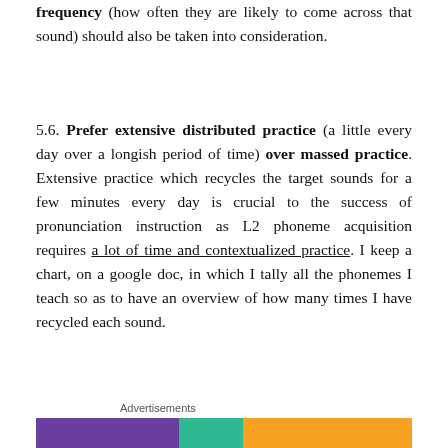frequency (how often they are likely to come across that sound) should also be taken into consideration.
5.6. Prefer extensive distributed practice (a little every day over a longish period of time) over massed practice. Extensive practice which recycles the target sounds for a few minutes every day is crucial to the success of pronunciation instruction as L2 phoneme acquisition requires a lot of time and contextualized practice. I keep a chart, on a google doc, in which I tally all the phonemes I teach so as to have an overview of how many times I have recycled each sound.
Advertisements
[Figure (other): Colorful advertisement banner with purple, teal/green, and orange sections]